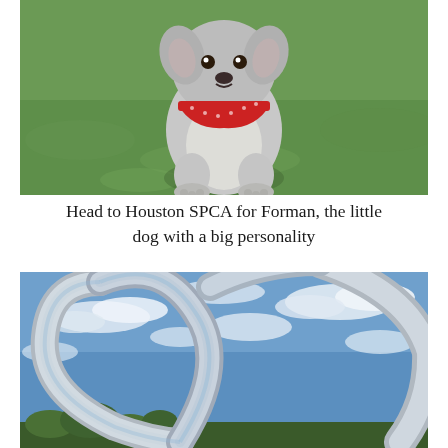[Figure (photo): A small white/grey dog wearing a red patterned bandana, photographed from above while sitting on green grass.]
Head to Houston SPCA for Forman, the little dog with a big personality
[Figure (photo): A large shiny chrome/metallic heart-shaped sculpture photographed from below against a partly cloudy blue sky, with trees visible at the bottom.]